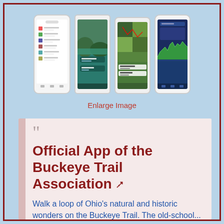[Figure (screenshot): Four smartphone screenshots showing a hiking trail app interface: a list view, a scenic photo view with teal UI, a satellite map view, and a dark map with elevation profile.]
Enlarge Image
Official App of the Buckeye Trail Association
Walk a loop of Ohio's natural and historic wonders on the Buckeye Trail. The old-school...